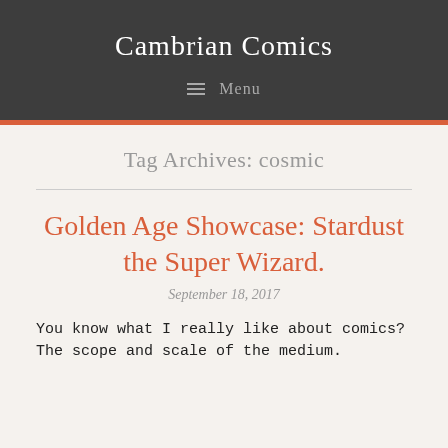Cambrian Comics
≡ Menu
Tag Archives: cosmic
Golden Age Showcase: Stardust the Super Wizard.
September 18, 2017
You know what I really like about comics?  The scope and scale of the medium.